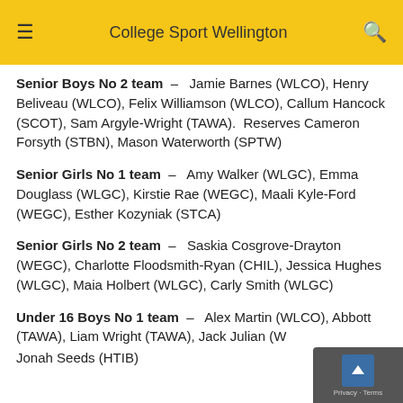College Sport Wellington
Senior Boys No 2 team – Jamie Barnes (WLCO), Henry Beliveau (WLCO), Felix Williamson (WLCO), Callum Hancock (SCOT), Sam Argyle-Wright (TAWA). Reserves Cameron Forsyth (STBN), Mason Waterworth (SPTW)
Senior Girls No 1 team – Amy Walker (WLGC), Emma Douglass (WLGC), Kirstie Rae (WEGC), Maali Kyle-Ford (WEGC), Esther Kozyniak (STCA)
Senior Girls No 2 team – Saskia Cosgrove-Drayton (WEGC), Charlotte Floodsmith-Ryan (CHIL), Jessica Hughes (WLGC), Maia Holbert (WLGC), Carly Smith (WLGC)
Under 16 Boys No 1 team – Alex Martin (WLCO), Abbott (TAWA), Liam Wright (TAWA), Jack Julian (W...), Jonah Seeds (HTIB)